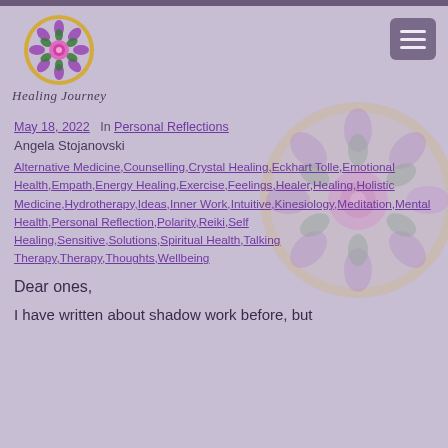[Figure (logo): Healing Journey logo: circular mandala flower with purple, green, pink petals on gold ring background, with italic script text 'Healing Journey' below]
May 18, 2022   In Personal Reflections
Angela Stojanovski
Alternative Medicine,Counselling,Crystal Healing,Eckhart Tolle,Emotional Health,Empath,Energy Healing,Exercise,Feelings,Healer,Healing,Holistic Medicine,Hydrotherapy,Ideas,Inner Work,Intuitive,Kinesiology,Meditation,Mental Health,Personal Reflection,Polarity,Reiki,Self Healing,Sensitive,Solutions,Spiritual Health,Talking Therapy,Therapy,Thoughts,Wellbeing
Dear ones,
I have written about shadow work before, but